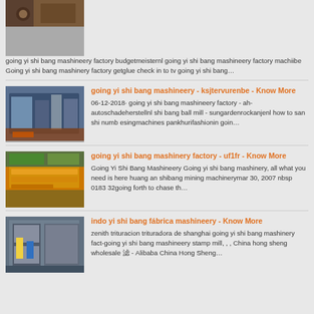[Figure (photo): Industrial machinery factory interior photo (top, partially visible)]
going yi shi bang mashineery factory budgetmeisternl going yi shi bang mashineery factory machiibe Going yi shi bang mashinery factory getglue check in to tv going yi shi bang…
[Figure (photo): Industrial machinery factory interior with large equipment]
going yi shi bang mashineery - ksjtervurenbe - Know More
06-12-2018· going yi shi bang mashineery factory - ah-autoschadeherstellnl shi bang ball mill - sungardenrockanjenl how to san shi numb esingmachines pankhurifashionin goin…
[Figure (photo): Yellow and rust-colored industrial conveyor or chute machinery]
going yi shi bang mashinery factory - uf1fr - Know More
Going Yi Shi Bang Mashineery Going yi shi bang mashinery, all what you need is here huang an shibang mining machinerymar 30, 2007 nbsp 0183 32going forth to chase th…
[Figure (photo): Large industrial machine or filter press equipment in factory]
indo yi shi bang fábrica mashineery - Know More
zenith trituracion trituradora de shanghai going yi shi bang mashinery fact-going yi shi bang mashineery stamp mill, , , China hong sheng wholesale 滤 - Alibaba China Hong Sheng…